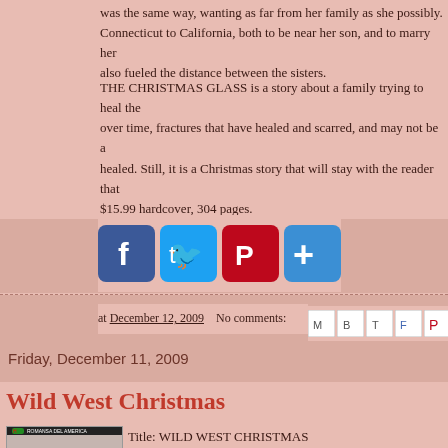was the same way, wanting as far from her family as she possibly. Connecticut to California, both to be near her son, and to marry her also fueled the distance between the sisters.
THE CHRISTMAS GLASS is a story about a family trying to heal the over time, fractures that have healed and scarred, and may not be a healed. Still, it is a Christmas story that will stay with the reader that $15.99 hardcover, 304 pages.
[Figure (infographic): Social sharing buttons: Facebook (blue), Twitter (light blue), Pinterest (dark red), Share/Plus (blue)]
at December 12, 2009   No comments:
Friday, December 11, 2009
Wild West Christmas
[Figure (photo): Book cover for Wild West Christmas - shows a woman in western setting]
Title: WILD WEST CHRISTMAS
Authors: Kathleen Y'Barbo, Lena Nelson D